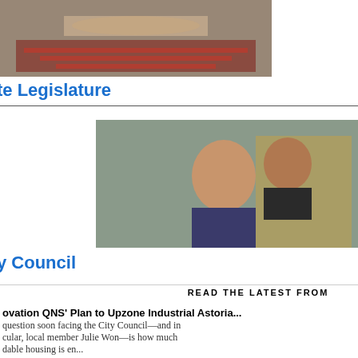[Figure (photo): Legislative chamber hall with rows of seats, top-down view]
te Legislature
[Figure (photo): Two men in suits, one in the foreground, one behind, appear to be at a formal proceeding]
y Council
[Figure (other): READ THE LATEST FROM CITYLIMITS.ORG advertisement banner]
ovation QNS' Plan to Upzone Industrial Astoria...
question soon facing the City Council—and in cular, local member Julie Won—is how much dable housing is en...
TCH: Dem. Candidates for Bronx State Senate ...
BronxTalk debate between 33rd District candidates